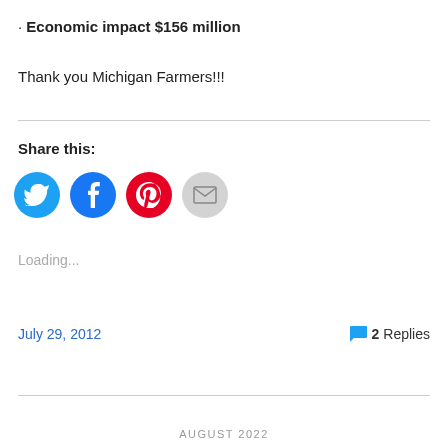· Economic impact $156 million
Thank you Michigan Farmers!!!
Share this:
[Figure (infographic): Four social sharing icon buttons: Twitter (blue circle), Facebook (blue circle), Pinterest (red circle), Email (grey circle)]
Loading...
July 29, 2012
2 Replies
AUGUST 2022